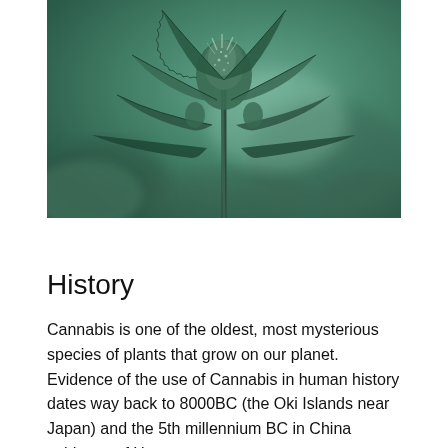[Figure (photo): Close-up macro photograph of a cannabis plant bud with serrated leaves, rendered in dark teal/green tones (monochrome green filter).]
History
Cannabis is one of the oldest, most mysterious species of plants that grow on our planet. Evidence of the use of Cannabis in human history dates way back to 8000BC (the Oki Islands near Japan) and the 5th millennium BC in China evidence of Hemp